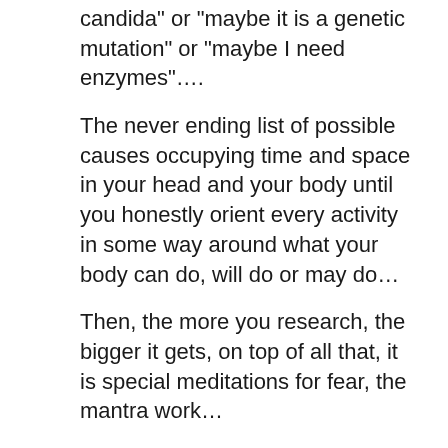candida" or "maybe it is a genetic mutation" or "maybe I need enzymes"....
The never ending list of possible causes occupying time and space in your head and your body until you honestly orient every activity in some way around what your body can do, will do or may do...
Then, the more you research, the bigger it gets, on top of all that, it is special meditations for fear, the mantra work...
Continue Reading...
Are you in an abusive